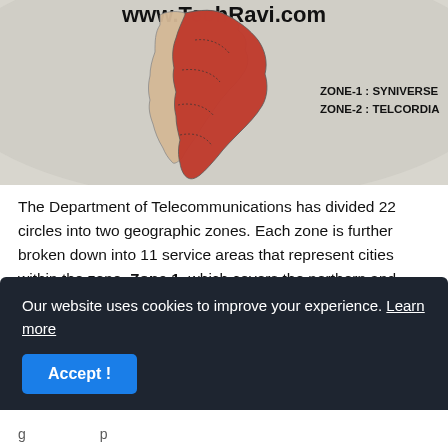[Figure (map): Map of India divided into two zones with www.TechRavi.com header. ZONE-1: SYNIVERSE and ZONE-2: TELCORDIA labeled on map.]
The Department of Telecommunications has divided 22 circles into two geographic zones. Each zone is further broken down into 11 service areas that represent cities within the zone. Zone 1, which covers the northern and western regions, has been given to Syniverse Technologies, while Zone 2 that includes the south and east regions has been awarded to MNP Interconnection
Our website uses cookies to improve your experience. Learn more
Accept!